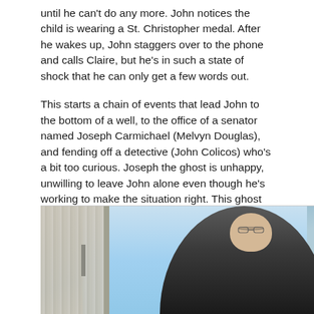until he can't do any more. John notices the child is wearing a St. Christopher medal. After he wakes up, John staggers over to the phone and calls Claire, but he's in such a state of shock that he can only get a few words out.
This starts a chain of events that lead John to the bottom of a well, to the office of a senator named Joseph Carmichael (Melvyn Douglas), and fending off a detective (John Colicos) who's a bit too curious. Joseph the ghost is unhappy, unwilling to leave John alone even though he's working to make the situation right. This ghost has a lot of pent-up rage, and is out for destruction.
[Figure (photo): A photograph showing an elderly man in dark clothing, viewed from below or at a low angle, with a window and curtains/blinds visible in the background against a light blue sky.]